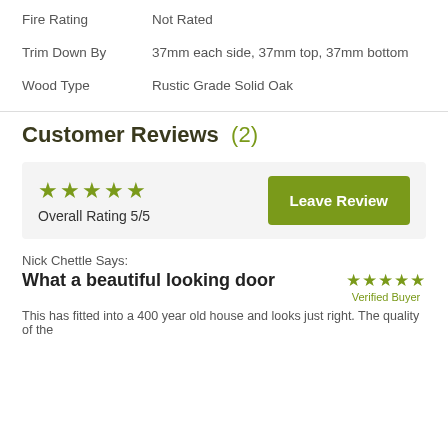Fire Rating	Not Rated
Trim Down By	37mm each side, 37mm top, 37mm bottom
Wood Type	Rustic Grade Solid Oak
Customer Reviews (2)
★★★★★ Overall Rating 5/5
Leave Review
Nick Chettle Says:
What a beautiful looking door
★★★★★ Verified Buyer
This has fitted into a 400 year old house and looks just right. The quality of the